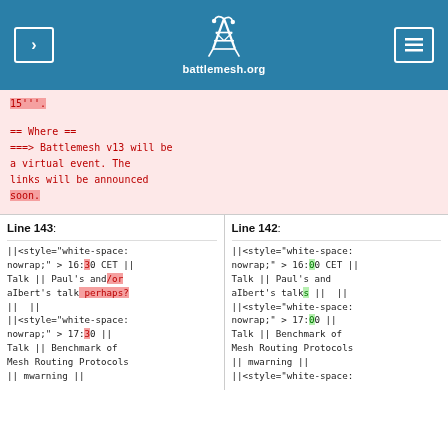battlemesh.org
15'''.
== Where ==
=== Online ===
Battlemesh v13 will be a virtual event. The links will be announced soon.
Line 143: ||<style="white-space: nowrap;" > 16:30 CET || Talk || Paul's and/or aIbert's talk perhaps? ||  || ||<style="white-space: nowrap;" > 17:30 || Talk || Benchmark of Mesh Routing Protocols || mwarning ||
Line 142: ||<style="white-space: nowrap;" > 16:00 CET || Talk || Paul's and aIbert's talks ||  || ||<style="white-space: nowrap;" > 17:00 || Talk || Benchmark of Mesh Routing Protocols || mwarning || ||<style="white-space: